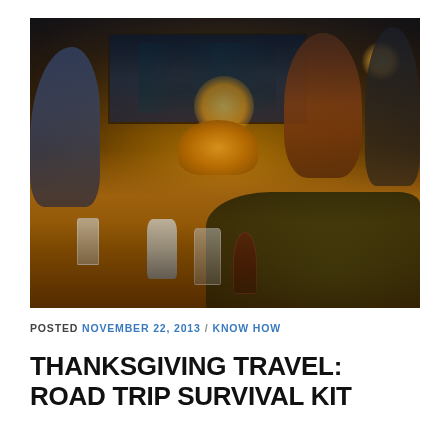[Figure (photo): A Thanksgiving dinner scene with multiple people gathered around a large wooden table filled with food including a roasted turkey, dark leafy greens in a pan, glasses of water, a white pitcher, dishes, and wine glasses. The room has dark stained-glass windows in the background and warm ambient lighting.]
POSTED NOVEMBER 22, 2013 / KNOW HOW
THANKSGIVING TRAVEL: ROAD TRIP SURVIVAL KIT